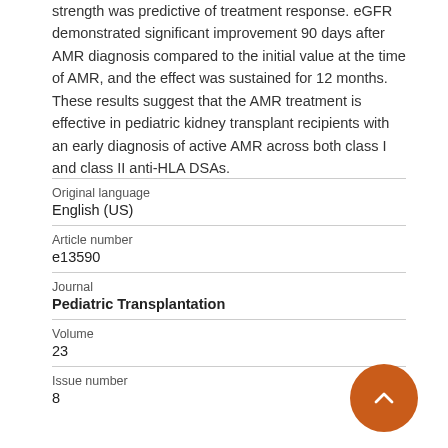strength was predictive of treatment response. eGFR demonstrated significant improvement 90 days after AMR diagnosis compared to the initial value at the time of AMR, and the effect was sustained for 12 months. These results suggest that the AMR treatment is effective in pediatric kidney transplant recipients with an early diagnosis of active AMR across both class I and class II anti-HLA DSAs.
| Original language | English (US) |
| Article number | e13590 |
| Journal | Pediatric Transplantation |
| Volume | 23 |
| Issue number | 8 |